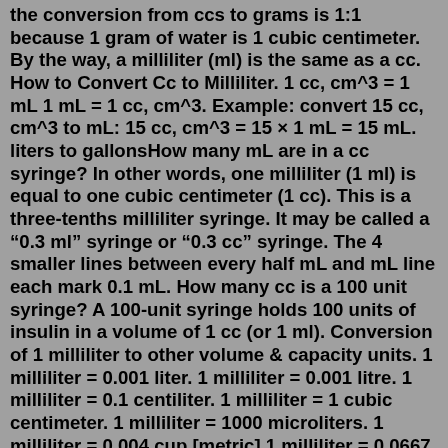the conversion from ccs to grams is 1:1 because 1 gram of water is 1 cubic centimeter. By the way, a milliliter (ml) is the same as a cc. How to Convert Cc to Milliliter. 1 cc, cm^3 = 1 mL 1 mL = 1 cc, cm^3. Example: convert 15 cc, cm^3 to mL: 15 cc, cm^3 = 15 × 1 mL = 15 mL. liters to gallonsHow many mL are in a cc syringe? In other words, one milliliter (1 ml) is equal to one cubic centimeter (1 cc). This is a three-tenths milliliter syringe. It may be called a “0.3 ml” syringe or “0.3 cc” syringe. The 4 smaller lines between every half mL and mL line each mark 0.1 mL. How many cc is a 100 unit syringe? A 100-unit syringe holds 100 units of insulin in a volume of 1 cc (or 1 ml). Conversion of 1 milliliter to other volume & capacity units. 1 milliliter = 0.001 liter. 1 milliliter = 0.001 litre. 1 milliliter = 0.1 centiliter. 1 milliliter = 1 cubic centimeter. 1 milliliter = 1000 microliters. 1 milliliter = 0.004 cup [metric] 1 milliliter = 0.0667 Tablespoon [metric]Milliliters (ml): We measure the capacity in cc and ml. 1 ml is equal to the 1 cc. How many cc are in a 1 ml syringe? one cubic centimeter